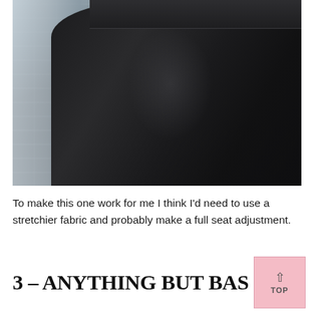[Figure (photo): Close-up photo of a person wearing black leggings/yoga pants, shown from the hip/waist area. Background is a white brick wall. The fabric is dark black/charcoal with slight texture.]
To make this one work for me I think I'd need to use a stretchier fabric and probably make a full seat adjustment.
3 – ANYTHING BUT BAS